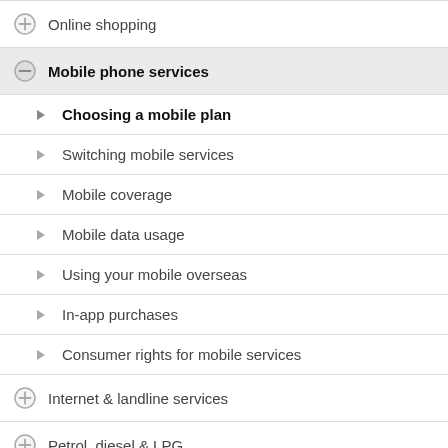Online shopping
Mobile phone services
Choosing a mobile plan
Switching mobile services
Mobile coverage
Mobile data usage
Using your mobile overseas
In-app purchases
Consumer rights for mobile services
Internet & landline services
Petrol, diesel & LPG
Energy